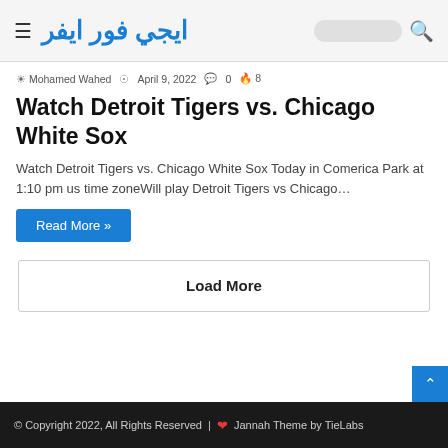ايجي فور ايفر
Mohamed Wahed  April 9, 2022  0  8
Watch Detroit Tigers vs. Chicago White Sox
Watch Detroit Tigers vs. Chicago White Sox Today in Comerica Park at 1:10 pm us time zoneWill play Detroit Tigers vs Chicago…
Read More »
Load More
© Copyright 2022, All Rights Reserved | ❤ Jannah Theme by TieLabs